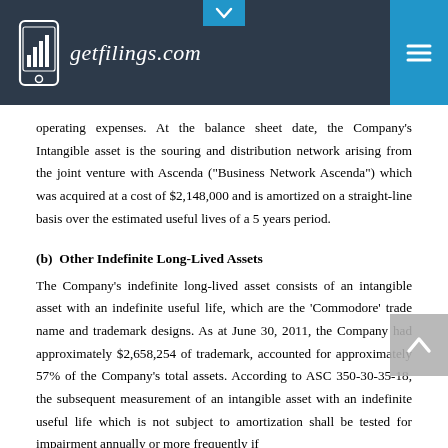getfilings.com
operating expenses. At the balance sheet date, the Company's Intangible asset is the souring and distribution network arising from the joint venture with Ascenda ("Business Network Ascenda") which was acquired at a cost of $2,148,000 and is amortized on a straight-line basis over the estimated useful lives of a 5 years period.
(b)  Other Indefinite Long-Lived Assets
The Company's indefinite long-lived asset consists of an intangible asset with an indefinite useful life, which are the 'Commodore' trade name and trademark designs. As at June 30, 2011, the Company had approximately $2,658,254 of trademark, accounted for approximately 57% of the Company's total assets. According to ASC 350-30-35-18, the subsequent measurement of an intangible asset with an indefinite useful life which is not subject to amortization shall be tested for impairment annually or more frequently if